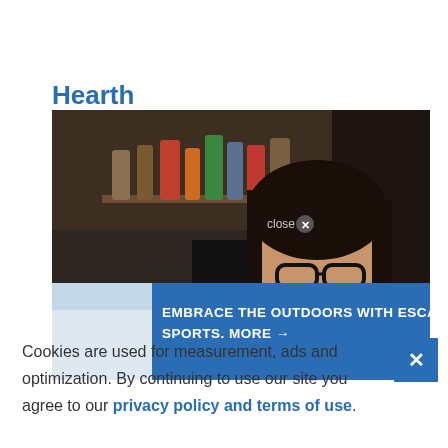Hearth
[Figure (photo): A woman with dark hair and glasses holding a cocktail strainer over a drink, in a bar setting with liquor bottles in background. An advertisement banner overlays the bottom: 'EMBRACE THE OUTDOORS WITH ESCAPE SPORTS. MORE →' with a thumbnail of a cyclist. A 'close ✕' button overlays the image.]
Cookies are used for measurement, ads and optimization. By continuing to use our site you agree to our privacy policy and terms of use.